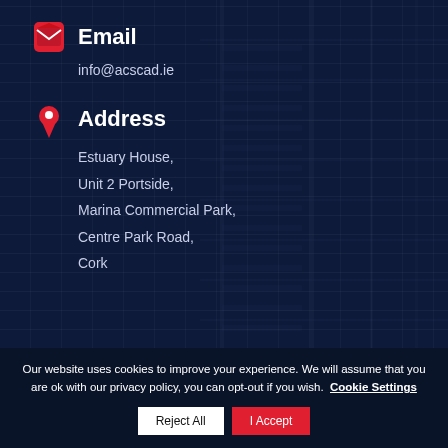Email
info@acscad.ie
Address
Estuary House,
Unit 2 Portside,
Marina Commercial Park,
Centre Park Road,
Cork
Our website uses cookies to improve your experience. We will assume that you are ok with our privacy policy, you can opt-out if you wish. Cookie Settings | Reject All | I Accept